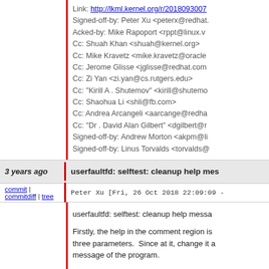Link: http://lkml.kernel.org/r/2018093007
Signed-off-by: Peter Xu <peterx@redhat...>
Acked-by: Mike Rapoport <rppt@linux.v...>
Cc: Shuah Khan <shuah@kernel.org>
Cc: Mike Kravetz <mike.kravetz@oracle...>
Cc: Jerome Glisse <jglisse@redhat.com...>
Cc: Zi Yan <zi.yan@cs.rutgers.edu>
Cc: "Kirill A . Shutemov" <kirill@shutemo...>
Cc: Shaohua Li <shli@fb.com>
Cc: Andrea Arcangeli <aarcange@redha...>
Cc: "Dr . David Alan Gilbert" <dgilbert@r...>
Signed-off-by: Andrew Morton <akpm@li...>
Signed-off-by: Linus Torvalds <torvalds@...>
userfaultfd: selftest: cleanup help mes...
3 years ago
commit | commitdiff | tree
Peter Xu [Fri, 26 Oct 2018 22:09:09 -...
userfaultfd: selftest: cleanup help messa...
Firstly, the help in the comment region is... three parameters.  Since at it, change it a... message of the program.
Also, the help messages dumped here a...